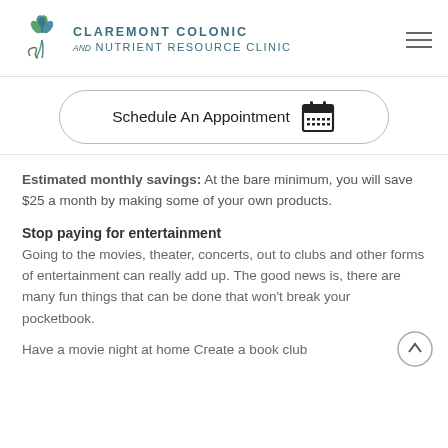Claremont Colonic and Nutrient Resource Clinic
[Figure (logo): Claremont Colonic and Nutrient Resource Clinic logo with a blue-green lotus/flower above a decorative curl and the clinic name in teal uppercase letters]
Schedule An Appointment
Estimated monthly savings: At the bare minimum, you will save $25 a month by making some of your own products.
Stop paying for entertainment
Going to the movies, theater, concerts, out to clubs and other forms of entertainment can really add up. The good news is, there are many fun things that can be done that won't break your pocketbook.
Have a movie night at home Create a book club